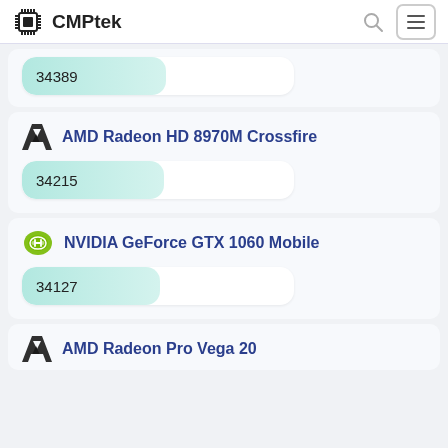CMPtek
34389
AMD Radeon HD 8970M Crossfire
34215
NVIDIA GeForce GTX 1060 Mobile
34127
AMD Radeon Pro Vega 20